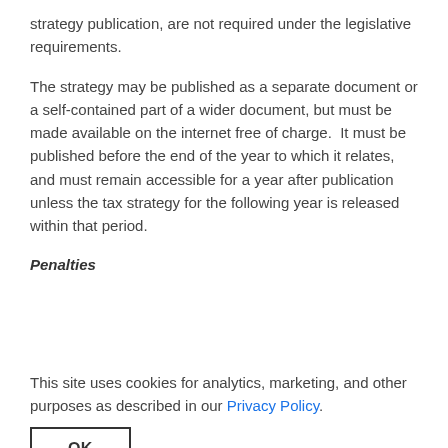strategy publication, are not required under the legislative requirements.
The strategy may be published as a separate document or a self-contained part of a wider document, but must be made available on the internet free of charge.  It must be published before the end of the year to which it relates, and must remain accessible for a year after publication unless the tax strategy for the following year is released within that period.
Penalties
This site uses cookies for analytics, marketing, and other purposes as described in our Privacy Policy.
OK